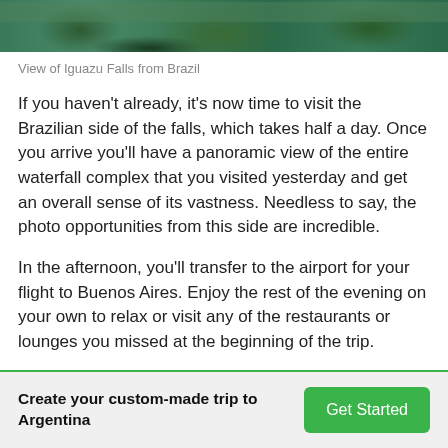[Figure (photo): Partial view of mossy rocks and blue-green water at Iguazu Falls, cropped at top of page]
View of Iguazu Falls from Brazil
If you haven't already, it's now time to visit the Brazilian side of the falls, which takes half a day. Once you arrive you'll have a panoramic view of the entire waterfall complex that you visited yesterday and get an overall sense of its vastness. Needless to say, the photo opportunities from this side are incredible.
In the afternoon, you'll transfer to the airport for your flight to Buenos Aires. Enjoy the rest of the evening on your own to relax or visit any of the restaurants or lounges you missed at the beginning of the trip.
Create your custom-made trip to Argentina  Get Started